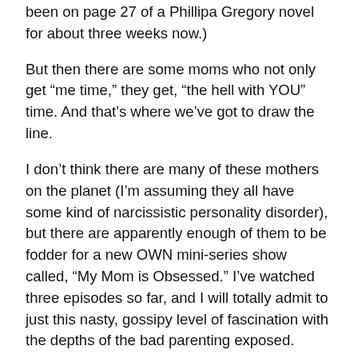been on page 27 of a Phillipa Gregory novel for about three weeks now.)
But then there are some moms who not only get “me time,” they get, “the hell with YOU” time. And that’s where we’ve got to draw the line.
I don’t think there are many of these mothers on the planet (I’m assuming they all have some kind of narcissistic personality disorder), but there are apparently enough of them to be fodder for a new OWN mini-series show called, “My Mom is Obsessed.” I’ve watched three episodes so far, and I will totally admit to just this nasty, gossipy level of fascination with the depths of the bad parenting exposed.
One of the moms is a bodybuilder. My first thought was, “Good for her for taking time to get in great shape!” Then it turned out that she spent around four hours a day working out, and when her kid broke his arm, she pouted about having to miss a session with her personal trainer because